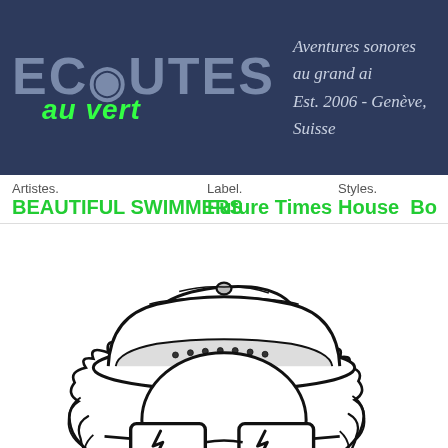ECOUTES au vert — Aventures sonores au grand air. Est. 2006 - Genève, Suisse
Artistes.
BEAUTIFUL SWIMMERS
Label.
Future Times
Styles.
House Bo
[Figure (illustration): Black and white cartoon illustration of a figure wearing a backwards baseball cap, cowboy hat layered on top, and lightning bolt sunglasses, with curly hair visible on the sides.]